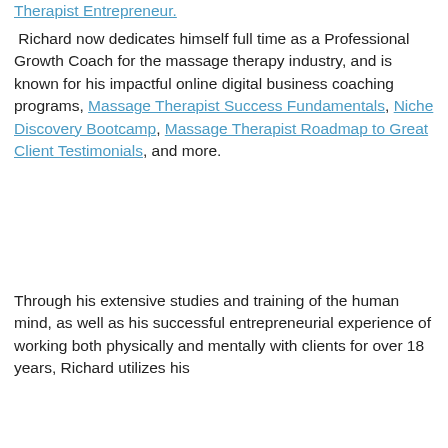Therapist Entrepreneur.
Richard now dedicates himself full time as a Professional Growth Coach for the massage therapy industry, and is known for his impactful online digital business coaching programs, Massage Therapist Success Fundamentals, Niche Discovery Bootcamp, Massage Therapist Roadmap to Great Client Testimonials, and more.
Through his extensive studies and training of the human mind, as well as his successful entrepreneurial experience of working both physically and mentally with clients for over 18 years, Richard utilizes his